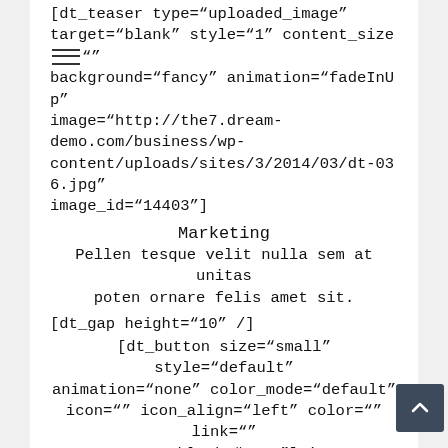[dt_teaser type="uploaded_image" target="blank" style="1" content_size ="" background="fancy" animation="fadeInUp" image="http://the7.dream-demo.com/business/wp-content/uploads/sites/3/2014/03/dt-036.jpg" image_id="14403"]
Marketing
Pellen tesque velit nulla sem at unitas poten ornare felis amet sit.
[dt_gap height="10" /]
[dt_button size="small" style="default" animation="none" color_mode="default" icon="" icon_align="left" color="" link="" target_blank="true"]View details[/dt_button]
[/dt_teaser][vc_empty_space height="40px"] [/vc_column][vc_column width="1/3" offset="vc_col-lg-3 vc_col-md-3 vc_col-xs-12"][vc_empty_space height="10px"]